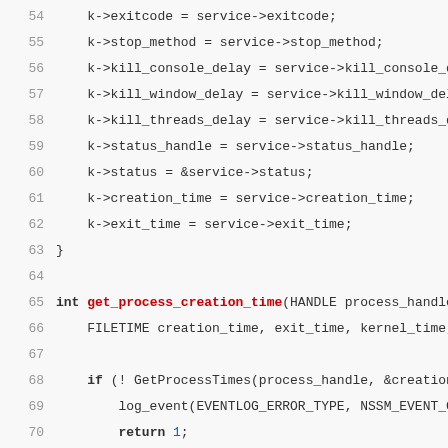Source code listing lines 54-75, C language code showing memory operations and get_process_creation_time function